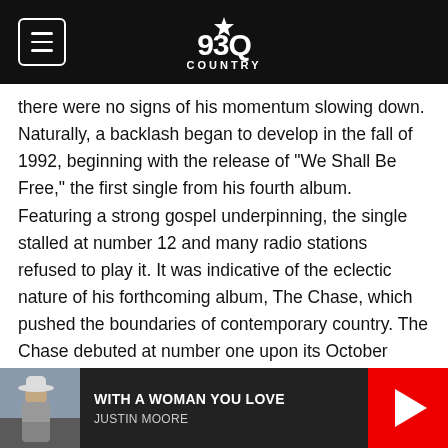93Q Country
there were no signs of his momentum slowing down. Naturally, a backlash began to develop in the fall of 1992, beginning with the release of "We Shall Be Free," the first single from his fourth album. Featuring a strong gospel underpinning, the single stalled at number 12 and many radio stations refused to play it. It was indicative of the eclectic nature of his forthcoming album, The Chase, which pushed the boundaries of contemporary country. The Chase debuted at number one upon its October 1992 release and by the end of the year, it sold over five million copies. Nevertheless, that number was half the size of the figures for his two previous albums and there was speculation in the media
[Figure (other): Music player bar showing thumbnail of Justin Moore wearing a cowboy hat, song title WITH A WOMAN YOU LOVE, artist name JUSTIN MOORE, and a red play button on the right]